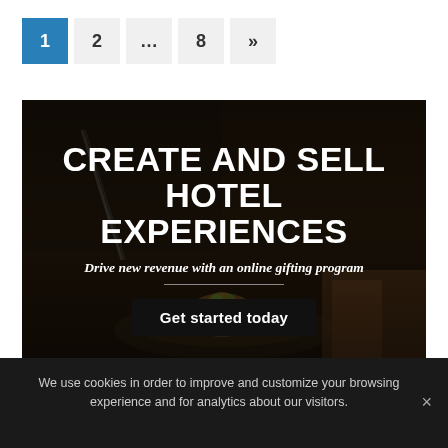[Figure (other): Pagination controls showing: active page 1 (blue), page 2, ellipsis, page 8, and next arrow (»)]
[Figure (infographic): Advertisement banner for groupSYNC / groups360.com. Dark background with a chef plating food. Text: 'CREATE AND SELL HOTEL EXPERIENCES', 'Drive new revenue with an online gifting program', 'Get started today' button. Footer: 'groups360.com' and 'groupSYNC' logo.]
We use cookies in order to improve and customize your browsing experience and for analytics about our visitors.